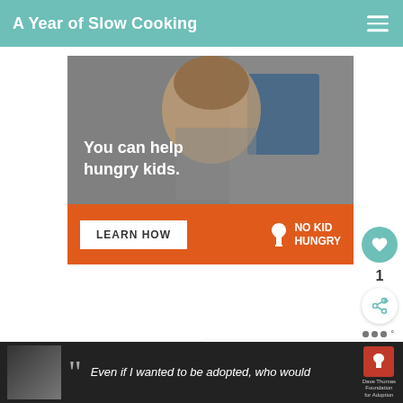A Year of Slow Cooking
[Figure (photo): Advertisement banner for No Kid Hungry campaign. Top portion shows a young boy eating something with text 'You can help hungry kids.' overlaid in white. Bottom orange bar has a 'LEARN HOW' button on the left and the No Kid Hungry logo on the right.]
1
WHAT'S NEXT → Slow Cooker Asian...
If you have a smaller crock-pot.
[Figure (infographic): Bottom advertisement bar showing a black and white photo of a woman with a quotation mark and text 'Even if I wanted to be adopted, who would' alongside the Dave Thomas Foundation for Adoption logo. A close button (X) is visible.]